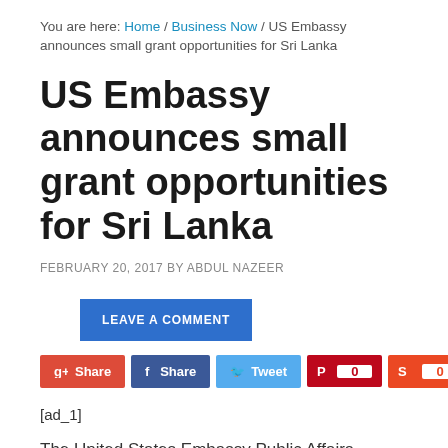You are here: Home / Business Now / US Embassy announces small grant opportunities for Sri Lanka
US Embassy announces small grant opportunities for Sri Lanka
FEBRUARY 20, 2017 BY ABDUL NAZEER
LEAVE A COMMENT
[Figure (other): Social sharing buttons: Google+ Share, Facebook Share, Twitter Tweet, Pinterest (0), StumbleUpon (0)]
[ad_1]
The United States Embassy Public Affairs Section in Sri Lanka has announced that funding is available through the Embassy's Public Diplomacy grants